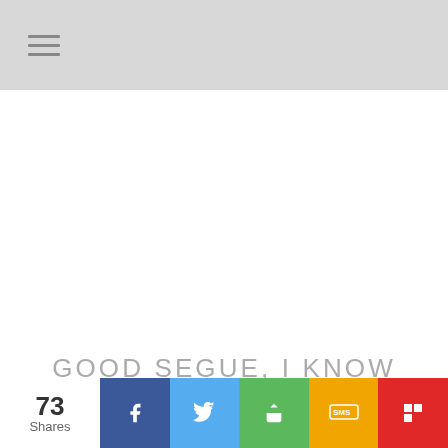Navigation menu icon
GOOD SEGUE, I KNOW THAT YOU FIRST STARTED RELEASING AMERICANA-ISH COUNTRY MUSIC
73 Shares | Facebook | Twitter | Share | SMS | Flipboard